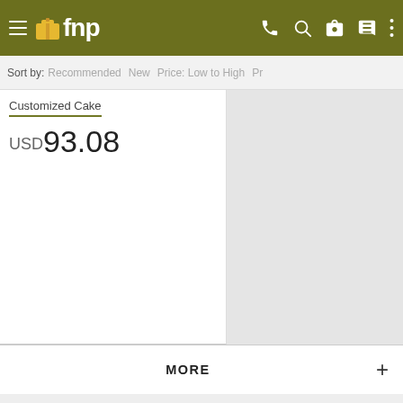fnp — navigation bar with hamburger menu, phone, search, gift, cart, more icons
Sort by: Recommended  New  Price: Low to High  Pr…
Customized Cake
USD 93.08
MORE +
100% Safe and secure payments.
Follow us on:
[Figure (infographic): Row of social media icons: Facebook, Twitter, Pinterest, Instagram in circular grey buttons; WhatsApp floating green circle button in bottom-right corner]